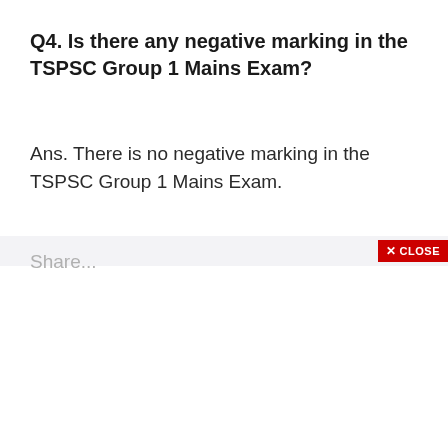Q4. Is there any negative marking in the TSPSC Group 1 Mains Exam?
Ans. There is no negative marking in the TSPSC Group 1 Mains Exam.
[Figure (screenshot): Red CLOSE button UI element in top-right corner of a modal overlay bar]
Share...